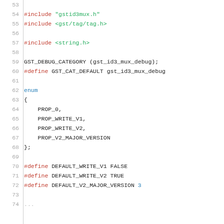Source code listing lines 53-73, C language, showing includes, debug category, enum definition, and preprocessor defines